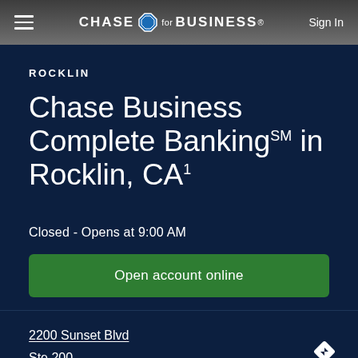CHASE for BUSINESS® Sign In
ROCKLIN
Chase Business Complete Banking℠ in Rocklin, CA¹
Closed - Opens at 9:00 AM
Open account online
2200 Sunset Blvd
Ste 200
Rocklin, CA 95765